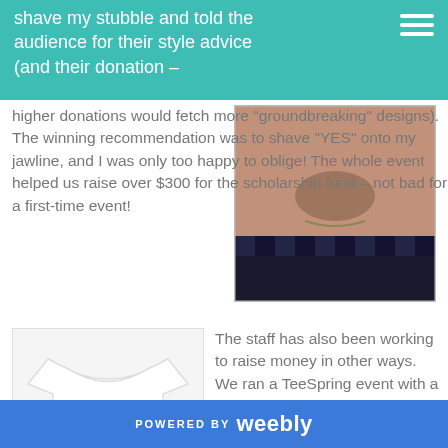shave my stubble and told the audience for their style advice (and their donation – higher donations would fetch more "groundbreaking" designs).
[Figure (photo): Close-up photo of a man's lower face and neck wearing a checkered/plaid shirt, showing a beard/jawline area]
The winning recommendation was to shave "YES" onto my jawline, and I was only too happy to oblige! The whole event helped us raise over $300 for the scholarship fund – not bad for a first-time event!
[Figure (photo): White t-shirt with 'Star Island' graphic design showing a diamond/gem shape with text 'STAR ISLAND']
The staff has also been working to raise money in other ways. We ran a TeeSpring event with a great design from Kieran Teare-Thomas! A big thank-you to everyone who purchased a shirt.
POWERED BY weebly